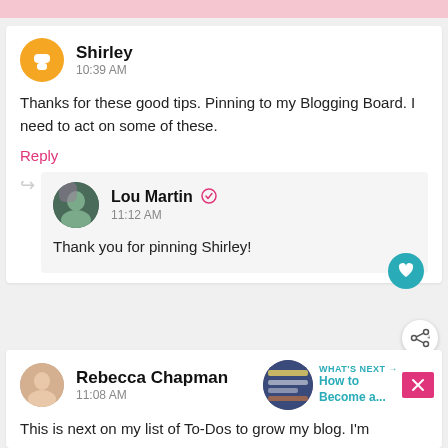[Figure (screenshot): Top pink decorative bar at top of page]
Shirley
10:39 AM
Thanks for these good tips. Pinning to my Blogging Board. I need to act on some of these.
Reply
Lou Martin ✓
11:12 AM
Thank you for pinning Shirley!
Rebecca Chapman
11:08 AM
WHAT'S NEXT → How to Become a...
This is next on my list of To-Dos to grow my blog. I'm